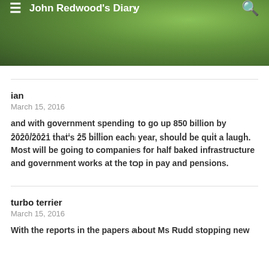John Redwood's Diary
ian
March 15, 2016
and with government spending to go up 850 billion by 2020/2021 that's 25 billion each year, should be quit a laugh. Most will be going to companies for half baked infrastructure and government works at the top in pay and pensions.
turbo terrier
March 15, 2016
With the reports in the papers about Ms Rudd stopping new